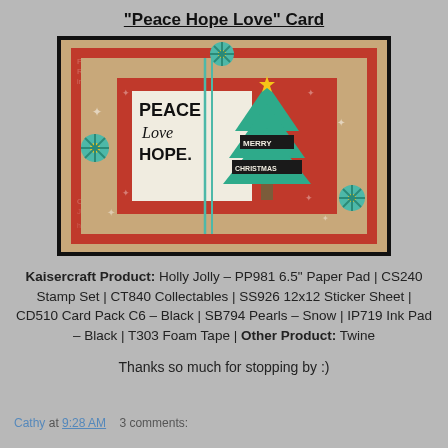“Peace Hope Love” Card
[Figure (photo): A handmade Christmas card featuring the words PEACE Love HOPE and a teal Christmas tree with MERRY CHRISTMAS banners, decorated with teal snowflake embellishments, set against red patterned paper and kraft cardstock background with teal twine.]
Kaisercraft Product: Holly Jolly – PP981 6.5" Paper Pad | CS240 Stamp Set | CT840 Collectables | SS926 12x12 Sticker Sheet | CD510 Card Pack C6 – Black | SB794 Pearls – Snow | IP719 Ink Pad – Black | T303 Foam Tape | Other Product: Twine
Thanks so much for stopping by :)
Cathy at 9:28 AM    3 comments: